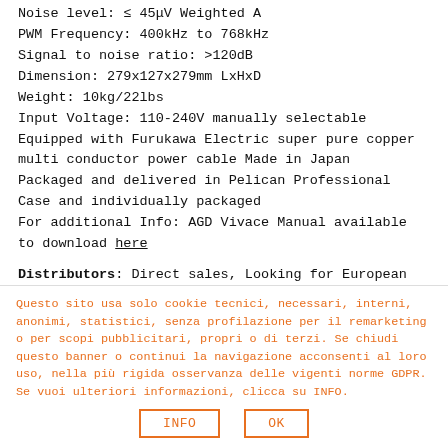Noise level: ≤ 45μV Weighted A
PWM Frequency: 400kHz to 768kHz
Signal to noise ratio: >120dB
Dimension: 279x127x279mm LxHxD
Weight: 10kg/22lbs
Input Voltage: 110-240V manually selectable
Equipped with Furukawa Electric super pure copper multi conductor power cable Made in Japan
Packaged and delivered in Pelican Professional Case and individually packaged
For additional Info: AGD Vivace Manual available to download here
Distributors: Direct sales, Looking for European Distis,
Questo sito usa solo cookie tecnici, necessari, interni, anonimi, statistici, senza profilazione per il remarketing o per scopi pubblicitari, propri o di terzi. Se chiudi questo banner o continui la navigazione acconsenti al loro uso, nella più rigida osservanza delle vigenti norme GDPR. Se vuoi ulteriori informazioni, clicca su INFO.